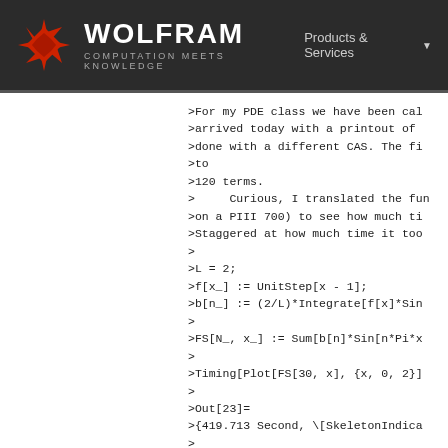WOLFRAM COMPUTATION MEETS KNOWLEDGE | Products & Services
>For my PDE class we have been ca
>arrived today with a printout of
>done with a different CAS. The fi
>to
>120 terms.
>     Curious, I translated the fun
>on a PIII 700) to see how much ti
>Staggered at how much time it too
>
>L = 2;
>f[x_] := UnitStep[x - 1];
>b[n_] := (2/L)*Integrate[f[x]*Sin
>
>FS[N_, x_] := Sum[b[n]*Sin[n*Pi*x
>
>Timing[Plot[FS[30, x], {x, 0, 2}]
>
>Out[23]=
>{419.713 Second, \[SkeletonIndica
>
>In this case the number of terms
>
>The time required per number of t